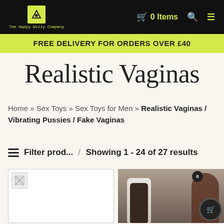The Happy Willy Company | 0 Items
FREE DELIVERY FOR ORDERS OVER £40
Realistic Vaginas
Home » Sex Toys » Sex Toys for Men » Realistic Vaginas / Vibrating Pussies / Fake Vaginas
Filter prod... / Showing 1 - 24 of 27 results
[Figure (photo): Product image placeholder (broken image icon) on left, product photo of adult toy with model on right side]